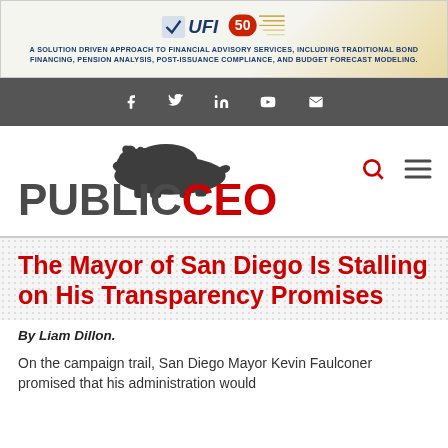[Figure (logo): UFI 50 banner advertisement for financial advisory services]
[Figure (infographic): Social media icons bar: Facebook, Twitter, LinkedIn, YouTube, Email on dark grey background]
[Figure (logo): PublicCEO logo with bear silhouette, search and menu icons]
The Mayor of San Diego Is Stalling on His Transparency Promises
By Liam Dillon.
On the campaign trail, San Diego Mayor Kevin Faulconer promised that his administration would